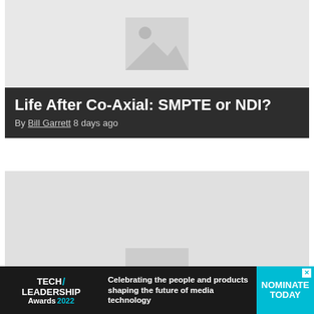[Figure (photo): Placeholder image thumbnail for article 1 - gray background with image placeholder icon]
Life After Co-Axial: SMPTE or NDI?
By Bill Garrett 8 days ago
[Figure (photo): Placeholder image thumbnail for article 2 - gray background]
Drones, Cellular Networks and Nanosatellites are Revolutionizing Live Broadcasts
[Figure (infographic): Tech Leadership Awards 2022 advertisement banner - Celebrating the people and products shaping the future of media technology. NOMINATE TODAY button in teal.]